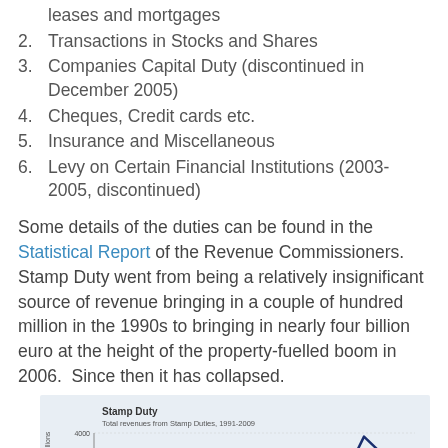leases and mortgages
2. Transactions in Stocks and Shares
3. Companies Capital Duty (discontinued in December 2005)
4. Cheques, Credit cards etc.
5. Insurance and Miscellaneous
6. Levy on Certain Financial Institutions (2003-2005, discontinued)
Some details of the duties can be found in the Statistical Report of the Revenue Commissioners.  Stamp Duty went from being a relatively insignificant source of revenue bringing in a couple of hundred million in the 1990s to bringing in nearly four billion euro at the height of the property-fuelled boom in 2006.  Since then it has collapsed.
[Figure (continuous-plot): Line chart titled 'Stamp Duty - Total revenues from Stamp Duties, 1991-2009'. Y-axis labeled 'Receipts, €millions' with values 1000 to 4000. Shows a peak around 2006 at approximately 4000 then sharp decline.]